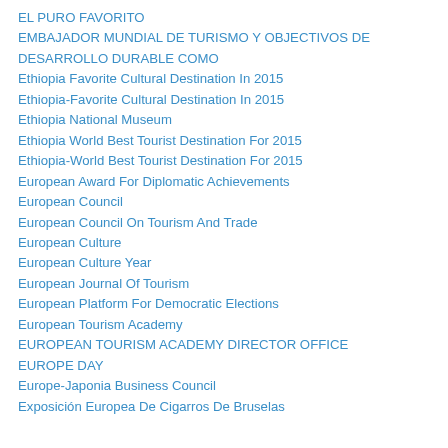EL PURO FAVORITO
EMBAJADOR MUNDIAL DE TURISMO Y OBJECTIVOS DE DESARROLLO DURABLE COMO
Ethiopia Favorite Cultural Destination In 2015
Ethiopia-Favorite Cultural Destination In 2015
Ethiopia National Museum
Ethiopia World Best Tourist Destination For 2015
Ethiopia-World Best Tourist Destination For 2015
European Award For Diplomatic Achievements
European Council
European Council On Tourism And Trade
European Culture
European Culture Year
European Journal Of Tourism
European Platform For Democratic Elections
European Tourism Academy
EUROPEAN TOURISM ACADEMY DIRECTOR OFFICE
EUROPE DAY
Europe-Japonia Business Council
Exposición Europea De Cigarros De Bruselas